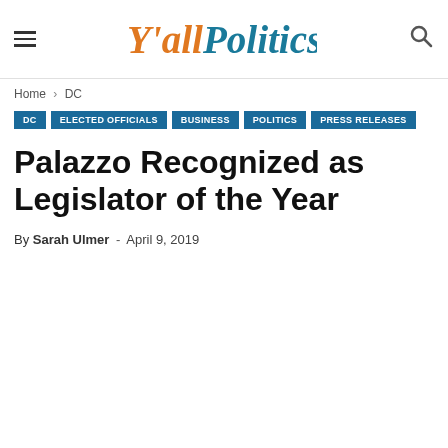Y'all Politics
Home › DC
DC | ELECTED OFFICIALS | BUSINESS | POLITICS | PRESS RELEASES
Palazzo Recognized as Legislator of the Year
By Sarah Ulmer - April 9, 2019